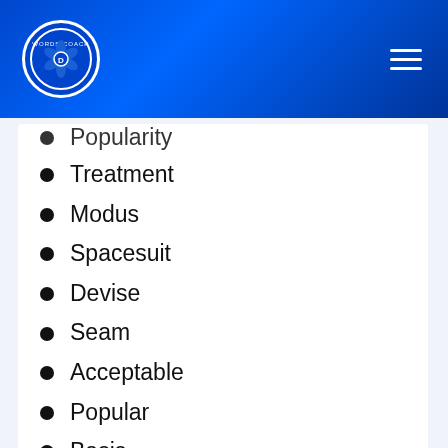Words Coach
Popularity
Treatment
Modus
Spacesuit
Devise
Seam
Acceptable
Popular
Basis
Procedure